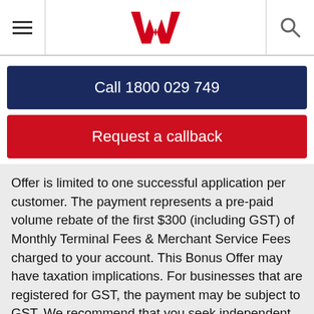Westpac bank navigation header with hamburger menu, Westpac W logo, and search icon
Call 1800 029 749
Request a callback
Offer is limited to one successful application per customer. The payment represents a pre-paid volume rebate of the first $300 (including GST) of Monthly Terminal Fees & Merchant Service Fees charged to your account. This Bonus Offer may have taxation implications. For businesses that are registered for GST, the payment may be subject to GST. We recommend that you seek independent advice to determine any tax liability or other tax implications based on your individual circumstances. Westpac has the right to withdraw